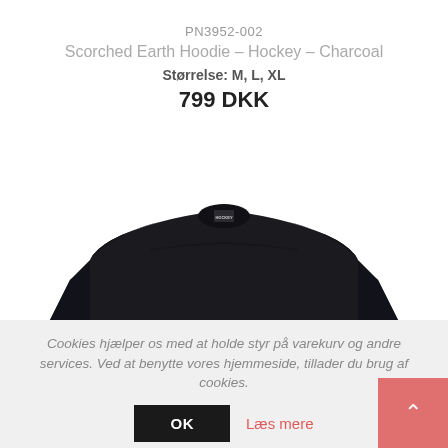PN3952-002
Scorched Earth Hoodie - Hockey - Charcoal
Størrelse: M, L, XL
799 DKK
[Figure (photo): Dark charcoal hockey hoodie laid flat, showing the shoulders and collar area with small logo tag visible at the neckline, on a white background.]
Cookies hjælper os med at holde styr på varekurv og andre services. Ved at benytte vores hjemmeside, tillader du brug af cookies.